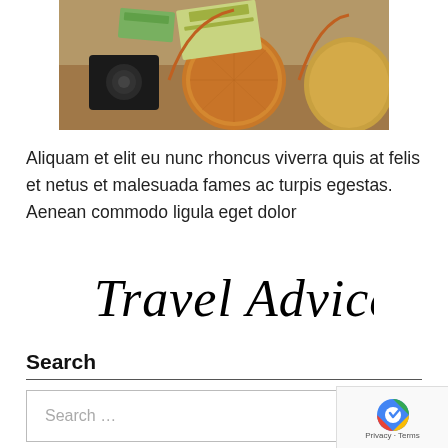[Figure (photo): Overhead travel flat-lay photo showing a camera, rattan bags, currency/money, and a travel document on a textured surface]
Aliquam et elit eu nunc rhoncus viverra quis at felis et netus et malesuada fames ac turpis egestas. Aenean commodo ligula eget dolor
[Figure (illustration): Handwritten-style cursive signature/logo reading 'Travel Advice']
Search
Search …